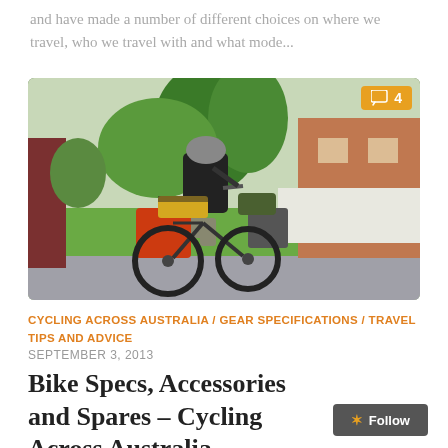and have made a number of different choices on where we travel, who we travel with and what mode...
[Figure (photo): A cyclist viewed from behind, riding a heavily loaded touring bicycle with orange and black panniers on a suburban street, wearing a black shirt and helmet. Green lawn, trees, brick house in background.]
CYCLING ACROSS AUSTRALIA / GEAR SPECIFICATIONS / TRAVEL TIPS AND ADVICE
SEPTEMBER 3, 2013
Bike Specs, Accessories and Spares – Cycling Across Australia